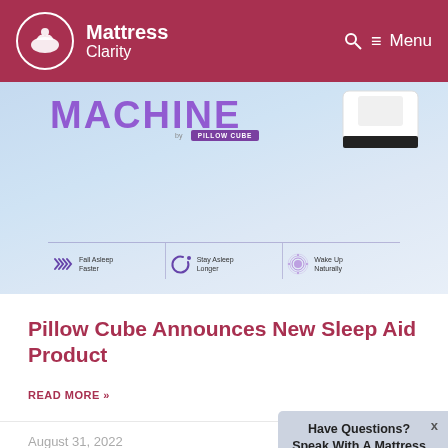Mattress Clarity — Menu
[Figure (photo): Pillow Cube product image showing a sleep aid device with features: Fall Asleep Faster, Stay Asleep Longer, Wake Up Naturally. Purple branding on blue gradient background.]
Pillow Cube Announces New Sleep Aid Product
READ MORE »
August 31, 2022
[Figure (photo): Bottom image strip showing pillows/mattress lifestyle photo.]
Have Questions? Speak With A Mattress Expert: (877) 684-9092